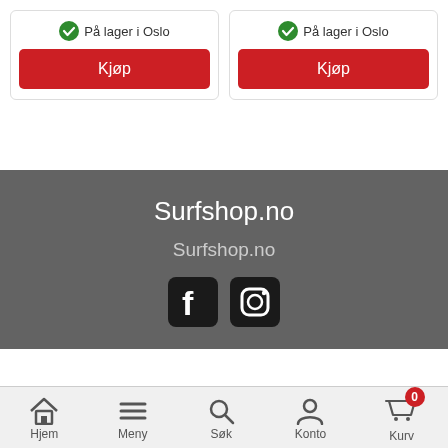[Figure (screenshot): Two product cards each showing 'På lager i Oslo' with a green checkmark and a red 'Kjøp' button]
Surfshop.no
Surfshop.no
[Figure (illustration): Facebook and Instagram social media icons]
Hjem  Meny  Søk  Konto  Kurv (0)